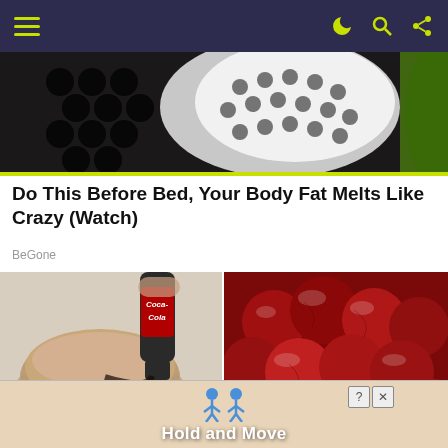Navigation bar with hamburger menu and icons
[Figure (photo): Hero image showing a lotus seed pod with black holes, partially obscured, green elements visible at edge]
Do This Before Bed, Your Body Fat Melts Like Crazy (Watch)
BeGone
[Figure (photo): Coca-Cola bottle pouring dark liquid into a bowl of brown powder]
[Figure (photo): Close-up of glazed red/brown dates or similar fruits]
A Teaspoon On An Empty Stomach Drops Body Fat Like Crazy (Watch)
Fighting Diabetes? This Discovery Leaves Doctors Speechless...
[Figure (screenshot): Advertisement banner with two blue figures and text 'Hold and Move']